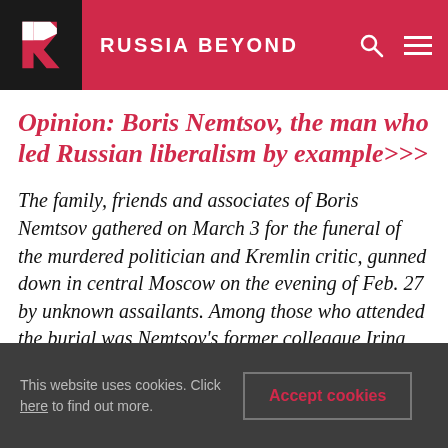RUSSIA BEYOND
Opinion: Boris Nemtsov, the man who led Russian liberalism by example>>>
The family, friends and associates of Boris Nemtsov gathered on March 3 for the funeral of the murdered politician and Kremlin critic, gunned down in central Moscow on the evening of Feb. 27 by unknown assailants. Among those who attended the burial was Nemtsov’s former colleague Irina Khakamada, who pays tribute here to a man who always stood out from the crowd in the world of Russian politics.
This website uses cookies. Click here to find out more.